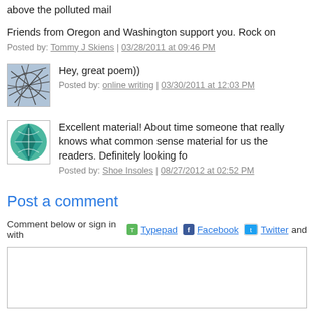above the polluted mail
Friends from Oregon and Washington support you. Rock on
Posted by: Tommy J Skiens | 03/28/2011 at 09:46 PM
[Figure (illustration): Avatar image with abstract line drawing on grey background]
Hey, great poem))
Posted by: online writing | 03/30/2011 at 12:03 PM
[Figure (illustration): Avatar image with teal/green leaf-like pattern on white background]
Excellent material! About time someone that really knows what common sense material for us the readers. Definitely looking fo
Posted by: Shoe Insoles | 08/27/2012 at 02:52 PM
Post a comment
Comment below or sign in with Typepad Facebook Twitter and